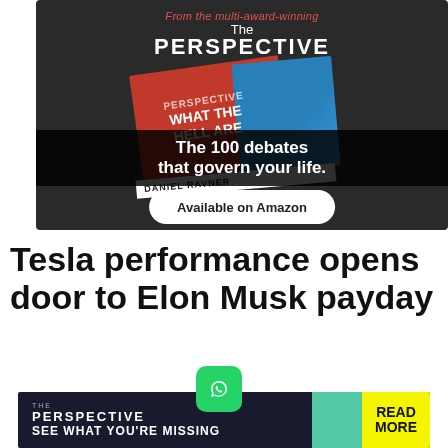[Figure (illustration): Advertisement for 'The Perspective' publication featuring a book titled 'What The Hell Are...' with text 'The 100 debates that govern your life.' and an 'Available on Amazon' button on a dark background.]
Tesla performance opens door to Elon Musk payday
[Figure (logo): WhatsApp logo icon in green]
[Figure (illustration): Bottom advertisement banner for The Perspective: 'SEE WHAT YOU'RE MISSING' with READ MORE button in yellow]